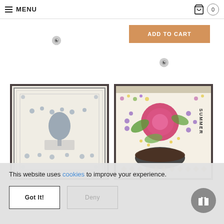MENU | 0
ADD TO CART
[Figure (photo): Cross stitch sampler in dark frame, cream background with floral and tree motifs in blue/grey tones]
[Figure (photo): Colorful cross stitch pattern with large pink rose, floral border, dark bowl at bottom, and 'SUMMER' text on right side]
This website uses cookies to improve your experience.
Got It!
Deny